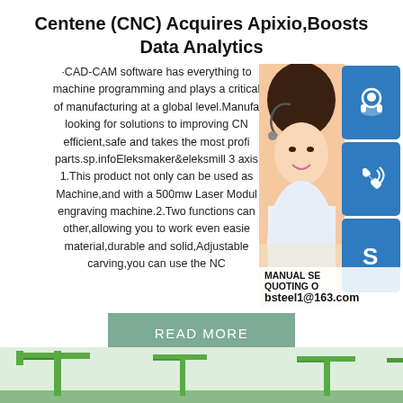Centene (CNC) Acquires Apixio,Boosts Data Analytics
·CAD-CAM software has everything to machine programming and plays a critical of manufacturing at a global level.Manufa looking for solutions to improving CN efficient,safe and takes the most profi parts.sp.infoEleksmaker&eleksmill 3 axis 1.This product not only can be used as Machine,and with a 500mw Laser Modul engraving machine.2.Two functions ca other,allowing you to work even easie material,durable and solid,Adjustable carving,you can use the NC
[Figure (photo): Woman with headset smiling, customer service photo with blue icon buttons (headset, phone, Skype) on the right side. Contact overlay shows MANUAL SE, QUOTING O, bsteel1@163.com]
READ MORE
[Figure (photo): Bottom image showing green industrial cranes]